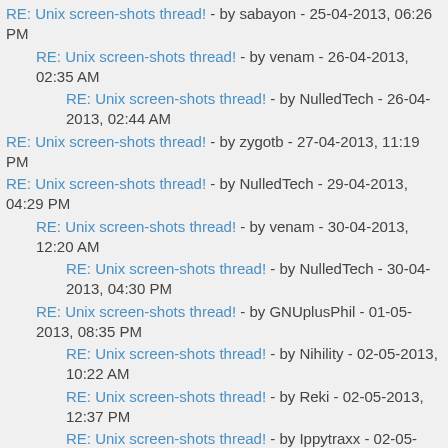RE: Unix screen-shots thread! - by sabayon - 25-04-2013, 06:26 PM
RE: Unix screen-shots thread! - by venam - 26-04-2013, 02:35 AM
RE: Unix screen-shots thread! - by NulledTech - 26-04-2013, 02:44 AM
RE: Unix screen-shots thread! - by zygotb - 27-04-2013, 11:19 PM
RE: Unix screen-shots thread! - by NulledTech - 29-04-2013, 04:29 PM
RE: Unix screen-shots thread! - by venam - 30-04-2013, 12:20 AM
RE: Unix screen-shots thread! - by NulledTech - 30-04-2013, 04:30 PM
RE: Unix screen-shots thread! - by GNUplusPhil - 01-05-2013, 08:35 PM
RE: Unix screen-shots thread! - by Nihility - 02-05-2013, 10:22 AM
RE: Unix screen-shots thread! - by Reki - 02-05-2013, 12:37 PM
RE: Unix screen-shots thread! - by Ippytraxx - 02-05-2013,